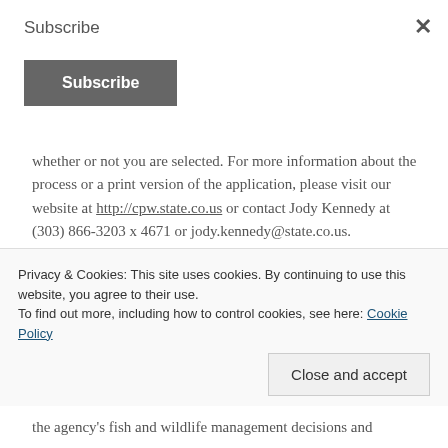Subscribe
[Figure (other): Subscribe button — dark grey rectangular button with white bold text 'Subscribe']
whether or not you are selected. For more information about the process or a print version of the application, please visit our website at http://cpw.state.co.us or contact Jody Kennedy at (303) 866-3203 x 4671 or jody.kennedy@state.co.us.
Background on the Colorado Sportsmen's
Privacy & Cookies: This site uses cookies. By continuing to use this website, you agree to their use.
To find out more, including how to control cookies, see here: Cookie Policy
the agency's fish and wildlife management decisions and